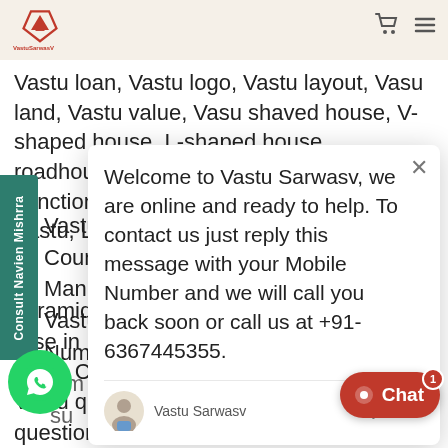VastuSarwasV
Vastu loan, Vastu logo, Vastu layout, Vasu land, Vastu value, Vasu shaved house, V-shaped house, L-shaped house, roadhouse last hit theory, Vastu hit, Vastu Junction, Junction ! house Vastu, I shipped Vastu, L-shap...
[Figure (screenshot): Chat popup from Vastu Sarwasv: 'Welcome to Vastu Sarwasv, we are online and ready to help. To contact us just reply this message with your Mobile Number and we will call you back soon or call us at +91-6367445355.' Sender: Vastu Sarwasv, just now.]
Vasu...Vastu...Cour...Man...Vastu...Num...
pyramid, Vastu Client, Vastu plan, Vastu orse in Hindi, Vastu puja, Vasu p... Vastu Course, Vastu questions, Vas... Vastu questions and answers, Vastu question